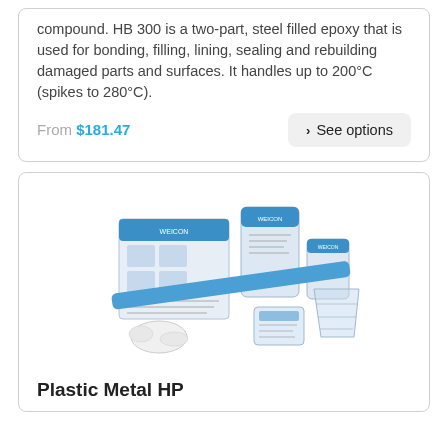compound. HB 300 is a two-part, steel filled epoxy that is used for bonding, filling, lining, sealing and rebuilding damaged parts and surfaces. It handles up to 200°C (spikes to 280°C).
From $181.47
See options
[Figure (photo): Product photo showing Plastic Metal HP kit components including containers, a blue spatula/mixing stick, gloves, and mixing cups arranged together.]
Plastic Metal HP